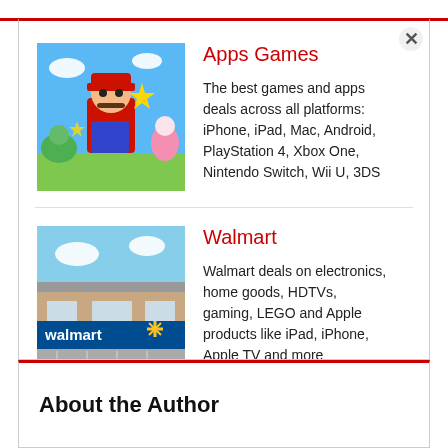[Figure (screenshot): Modal popup with close button containing two category cards]
Apps Games
The best games and apps deals across all platforms: iPhone, iPad, Mac, Android, PlayStation 4, Xbox One, Nintendo Switch, Wii U, 3DS
Walmart
Walmart deals on electronics, home goods, HDTVs, gaming, LEGO and Apple products like iPad, iPhone, Apple TV and more
About the Author